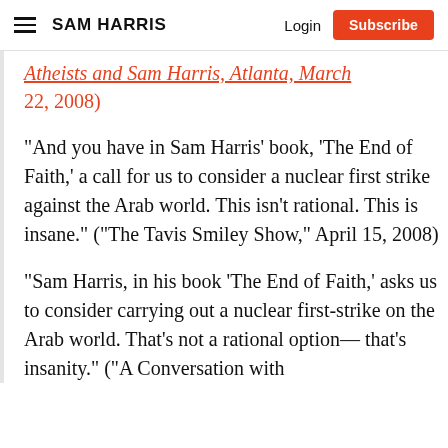SAM HARRIS   Login   Subscribe
Atheists and Sam Harris, Atlanta, March 22, 2008)
“And you have in Sam Harris’ book, ‘The End of Faith,’ a call for us to consider a nuclear first strike against the Arab world. This isn’t rational. This is insane.” (“The Tavis Smiley Show,” April 15, 2008)
“Sam Harris, in his book ‘The End of Faith,’ asks us to consider carrying out a nuclear first-strike on the Arab world. That’s not a rational option—that’s insanity.” (“A Conversation with